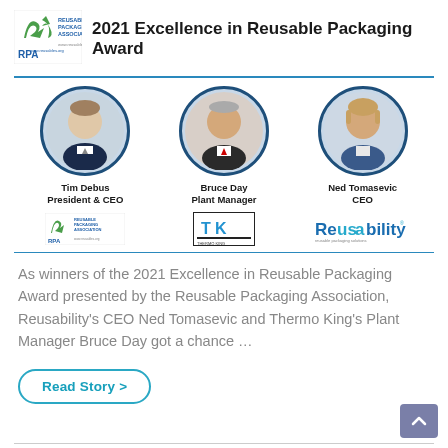2021 Excellence in Reusable Packaging Award
[Figure (infographic): Three circular portrait photos of award winners: Tim Debus (President & CEO, Reusable Packaging Association), Bruce Day (Plant Manager, Thermo King), and Ned Tomasevic (CEO, Reusability). Each photo is accompanied by the person's name, title, and company logo below.]
As winners of the 2021 Excellence in Reusable Packaging Award presented by the Reusable Packaging Association, Reusability's CEO Ned Tomasevic and Thermo King's Plant Manager Bruce Day got a chance ...